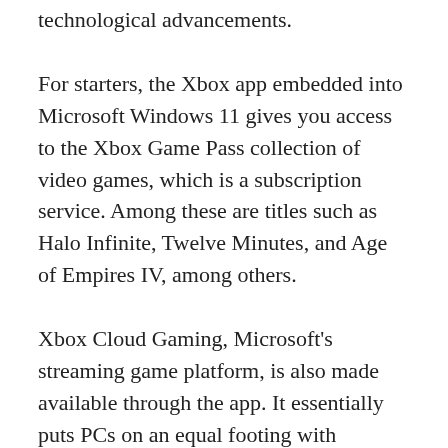technological advancements.
For starters, the Xbox app embedded into Microsoft Windows 11 gives you access to the Xbox Game Pass collection of video games, which is a subscription service. Among these are titles such as Halo Infinite, Twelve Minutes, and Age of Empires IV, among others.
Xbox Cloud Gaming, Microsoft's streaming game platform, is also made available through the app. It essentially puts PCs on an equal footing with Xboxes, albeit users retain flexibility over how much hardware power they want to devote to their gaming sessions.